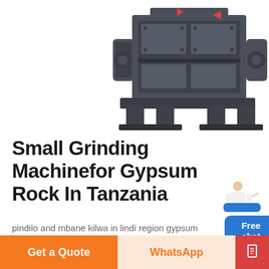[Figure (photo): Large industrial grinding/crushing machine in dark grey/charcoal color, shown from front-right angle, partially cropped at top. Machine has orange/red accent arrows/indicators.]
Small Grinding Machinefor Gypsum Rock In Tanzania
[Figure (illustration): Customer service person icon (woman in white coat) next to a blue rounded rectangle button labeled 'Free chat']
pindilo and mbane kilwa in lindi region gypsum
Prompt : Caesar is a famous mining equipment manufacturer well-known both at home and abroad, major in producing stone crushing equipment,
Get a Quote
WhatsApp